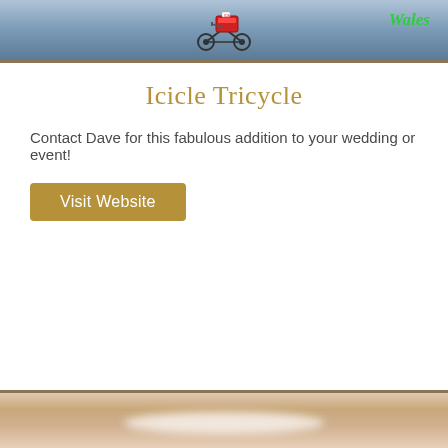[Figure (photo): Banner header with icicle/winter background graphic, a tricycle icon in the center, and 'Wales' text in green on the right]
Icicle Tricycle
Contact Dave for this fabulous addition to your wedding or event!
Visit Website
[Figure (photo): Bottom photo showing what appears to be a close-up of a wedding dress or white fabric with decorative detail]